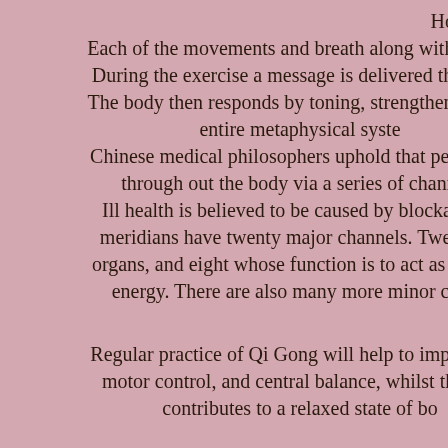How does this work?
Each of the movements and breath along with visuali... During the exercise a message is delivered that invo... The body then responds by toning, strengthening or r... entire metaphysical syste... Chinese medical philosophers uphold that perfect he... through out the body via a series of channels... Ill health is believed to be caused by blockages w... meridians have twenty major channels. Twelve, w... organs, and eight whose function is to act as conduc... energy. There are also many more minor chann...
Regular practice of Qi Gong will help to improve ne... motor control, and central balance, whilst the sim... contributes to a relaxed state of bo...
I can speak from experience that it has helped gre... condition. And helped to get my mind back on tra...
I will leave you with thi...